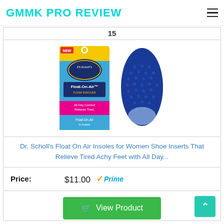GMMK PRO REVIEW
15
[Figure (photo): Dr. Scholl's Float-On-Air Foam Insoles product package showing front of box and one removable blue insole]
Dr. Scholl's Float On Air Insoles for Women Shoe Inserts That Relieve Tired Achy Feet with All Day...
Price: $11.00 Prime
View Product